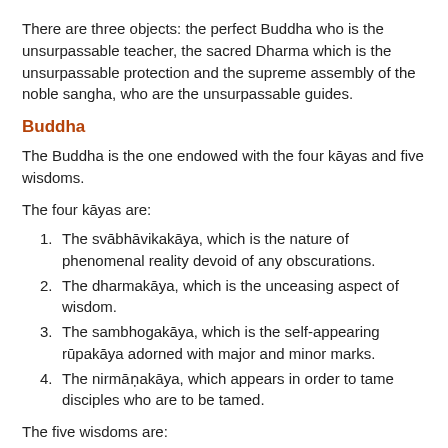There are three objects: the perfect Buddha who is the unsurpassable teacher, the sacred Dharma which is the unsurpassable protection and the supreme assembly of the noble sangha, who are the unsurpassable guides.
Buddha
The Buddha is the one endowed with the four kāyas and five wisdoms.
The four kāyas are:
The svābhāvikakāya, which is the nature of phenomenal reality devoid of any obscurations.
The dharmakāya, which is the unceasing aspect of wisdom.
The sambhogakāya, which is the self-appearing rūpakāya adorned with major and minor marks.
The nirmāṇakāya, which appears in order to tame disciples who are to be tamed.
The five wisdoms are: